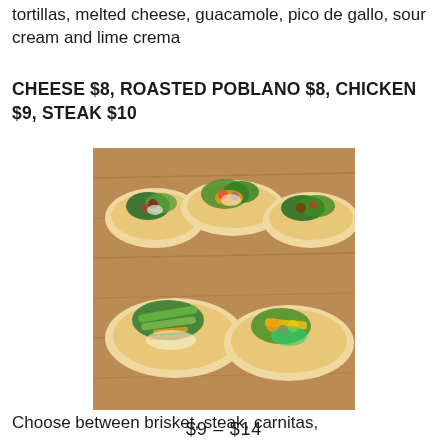tortillas, melted cheese, guacamole, pico de gallo, sour cream and lime crema
CHEESE $8, ROASTED POBLANO $8, CHICKEN $9, STEAK $10
[Figure (photo): Five open-faced tacos on flour tortillas arranged on a wooden table, topped with various colorful ingredients including guacamole, pico de gallo, mango, and greens.]
$9 – $14
Choose between brisket, steak, carnitas,